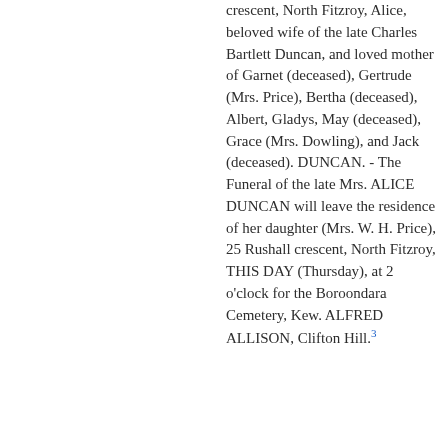crescent, North Fitzroy, Alice, beloved wife of the late Charles Bartlett Duncan, and loved mother of Garnet (deceased), Gertrude (Mrs. Price), Bertha (deceased), Albert, Gladys, May (deceased), Grace (Mrs. Dowling), and Jack (deceased). DUNCAN. - The Funeral of the late Mrs. ALICE DUNCAN will leave the residence of her daughter (Mrs. W. H. Price), 25 Rushall crescent, North Fitzroy, THIS DAY (Thursday), at 2 o'clock for the Boroondara Cemetery, Kew. ALFRED ALLISON, Clifton Hill.³